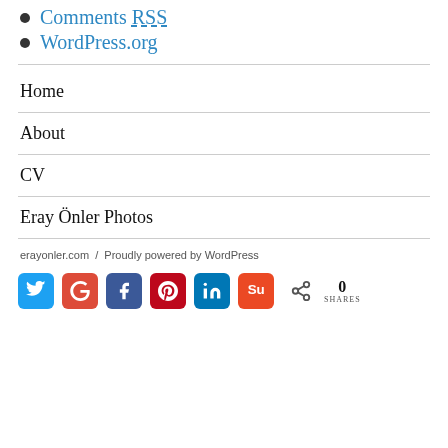Comments RSS
WordPress.org
Home
About
CV
Eray Önler Photos
erayonler.com / Proudly powered by WordPress
[Figure (infographic): Social sharing buttons: Twitter, Google+, Facebook, Pinterest, LinkedIn, StumbleUpon, plus a share icon and 0 SHARES count]